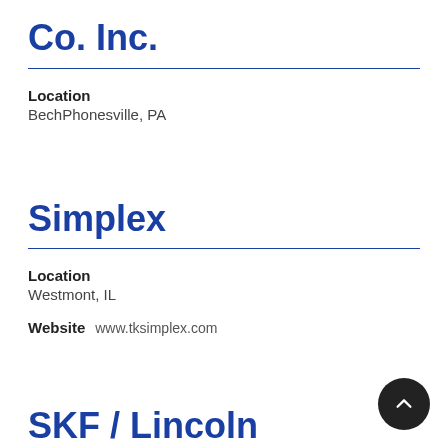Co. Inc.
Location
BechPhonesville, PA
Simplex
Location
Westmont, IL
Website  www.tksimplex.com
SKF / Lincoln